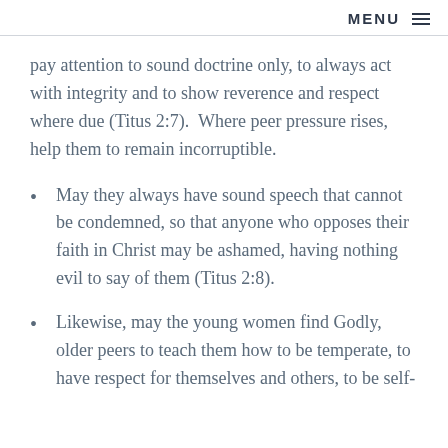MENU ≡
pay attention to sound doctrine only, to always act with integrity and to show reverence and respect where due (Titus 2:7).  Where peer pressure rises, help them to remain incorruptible.
May they always have sound speech that cannot be condemned, so that anyone who opposes their faith in Christ may be ashamed, having nothing evil to say of them (Titus 2:8).
Likewise, may the young women find Godly, older peers to teach them how to be temperate, to have respect for themselves and others, to be self-